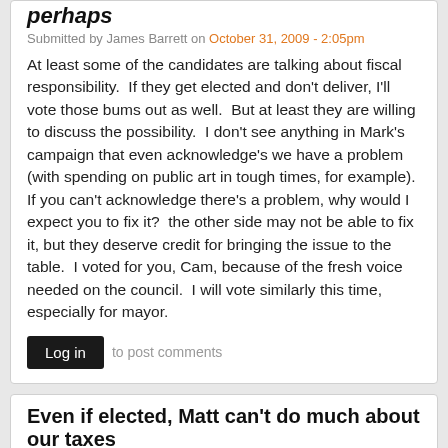perhaps
Submitted by James Barrett on October 31, 2009 - 2:05pm
At least some of the candidates are talking about fiscal responsibility.  If they get elected and don't deliver, I'll vote those bums out as well.  But at least they are willing to discuss the possibility.  I don't see anything in Mark's campaign that even acknowledge's we have a problem (with spending on public art in tough times, for example).  If you can't acknowledge there's a problem, why would I expect you to fix it?  the other side may not be able to fix it, but they deserve credit for bringing the issue to the table.  I voted for you, Cam, because of the fresh voice needed on the council.  I will vote similarly this time, especially for mayor.
Log in to post comments
Even if elected, Matt can't do much about our taxes
Submitted by Joe Capowski on October 31, 2009 - 2:30pm